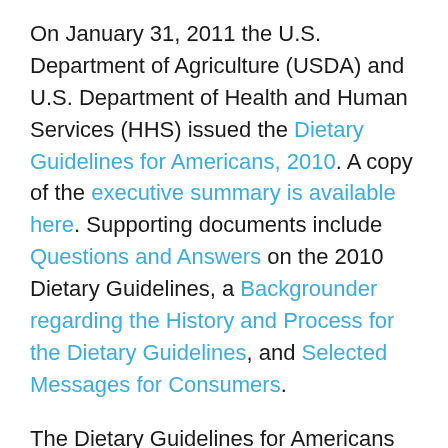On January 31, 2011 the U.S. Department of Agriculture (USDA) and U.S. Department of Health and Human Services (HHS) issued the Dietary Guidelines for Americans, 2010. A copy of the executive summary is available here. Supporting documents include Questions and Answers on the 2010 Dietary Guidelines, a Backgrounder regarding the History and Process for the Dietary Guidelines, and Selected Messages for Consumers.
The Dietary Guidelines for Americans (Dietary Guidelines) are reviewed by USDA and HHS every five years, pursuant to Public Law 101-445. Traditionally, the Dietary Guidelines recommendations have been intended for healthy Americans ages 2 years and older. "[R]ising concern about the health of the American population," however, has led the USDA and HHS to publish Dietary Guidelines for all Americans ages 2